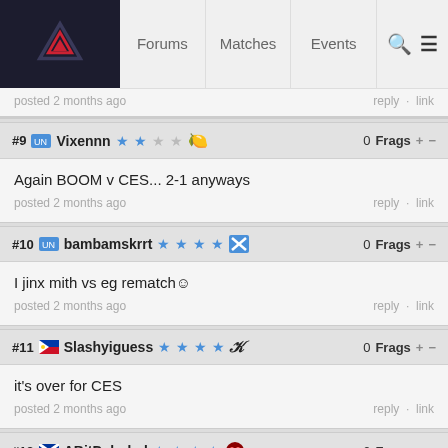Forums | Matches | Events
posted 2 months ago   reply · link
#9 Vixennn ★★☆☆ 🍋   0 Frags + -
Again BOOM v CES... 2-1 anyways
posted 2 months ago   reply · link
#10 bambamskrrt ★★★★☆ ✖   0 Frags + -
I jinx mith vs eg rematch☺
posted 2 months ago   reply · link
#11 🇵🇭 Slashyiguess ★★★★☆ 🏆   0 Frags + -
it's over for CES
posted 2 months ago   reply · link
#12 🏴󠁧󠁢󠁳󠁣󠁴󠁿 ABitDeluded ★★★★☆ 🦁   0 Frags + -